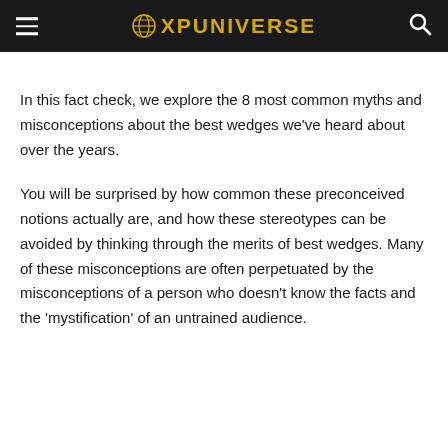XPUNIVERSE
In this fact check, we explore the 8 most common myths and misconceptions about the best wedges we've heard about over the years.
You will be surprised by how common these preconceived notions actually are, and how these stereotypes can be avoided by thinking through the merits of best wedges. Many of these misconceptions are often perpetuated by the misconceptions of a person who doesn't know the facts and the 'mystification' of an untrained audience.